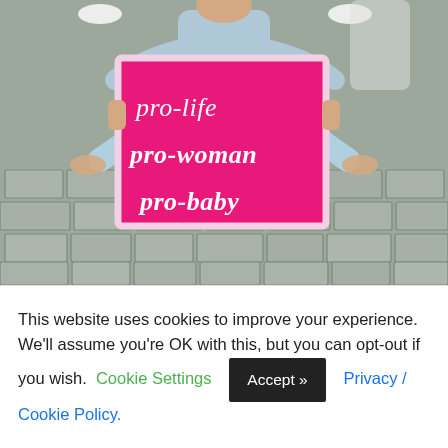[Figure (photo): Photo of a child seated on cobblestone pavement holding a large pink sign that reads 'pro-life pro-woman pro-baby' in white italic text. Other figures are partially visible in the background.]
This website uses cookies to improve your experience. We'll assume you're OK with this, but you can opt-out if you wish. Cookie Settings  Accept >>  Privacy / Cookie Policy.